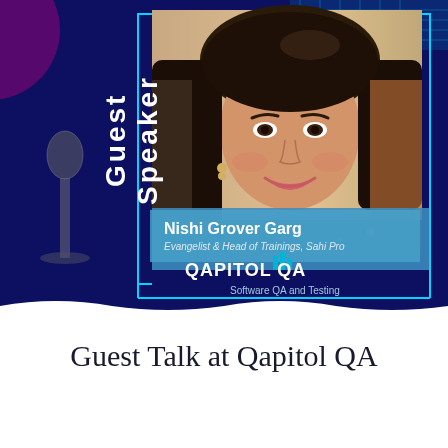[Figure (photo): Promotional card for a guest speaker event at Qapitol QA. Dark navy blue background with cyan border frame. Photo of Nishi Grover Garg, a woman with long dark hair, smiling. Vertical text 'Guest Speaker' on the left. Semi-transparent blue name banner with her name and title. Qapitol QA logo with bars icon and tagline 'Software QA and Testing'.]
Guest Talk at Qapitol QA